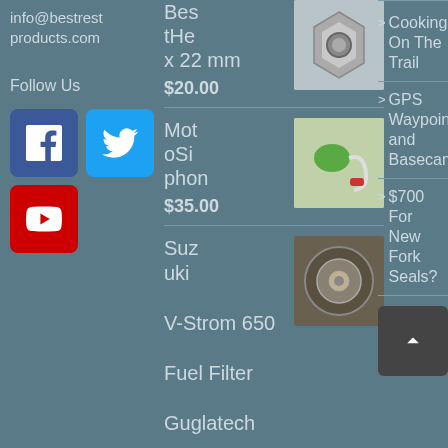info@bestrestproducts.com
Follow Us
[Figure (logo): Facebook, Twitter, and YouTube social media icons]
BestHex 22 mm
$20.00
[Figure (photo): Metal hex bolt adapter product photo]
MotoSiphon
$35.00
[Figure (photo): MotoSiphon product photo with green bulb and red clip]
Suzuki V-Strom 650 Fuel Filter Guglatech
[Figure (photo): Suzuki V-Strom fuel filter product photo]
Cooking On The Trail
GPS Waypoints and Basecamp
$700 For New Fork Seals?